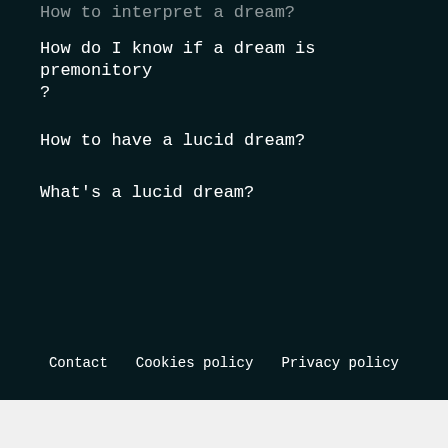How to interpret a dream?
How do I know if a dream is premonitory?
How to have a lucid dream?
What's a lucid dream?
Contact  Cookies policy  Privacy policy